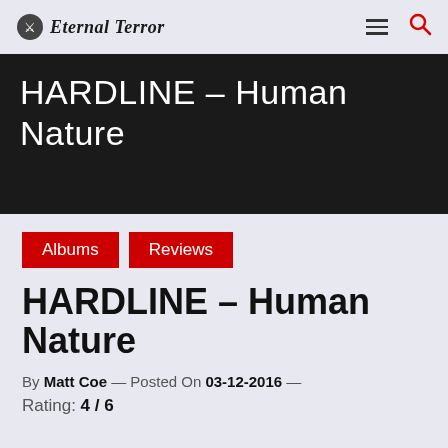Eternal Terror
HARDLINE – Human Nature
Albums
Reviews
HARDLINE – Human Nature
By Matt Coe — Posted On 03-12-2016 —
Rating: 4 / 6